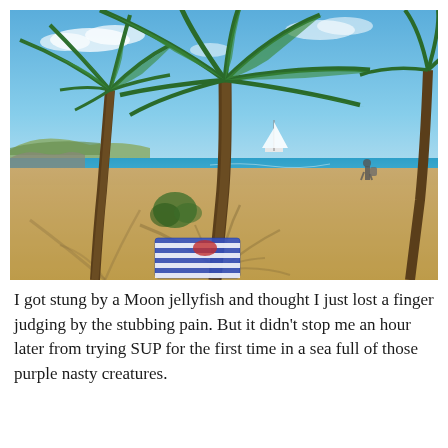[Figure (photo): Beach scene with tall palm trees casting shadows on golden sand, blue sea in the background with a sailboat, clear blue sky with a few clouds, a striped towel on the sand beneath the palms, and a person walking near the water's edge.]
I got stung by a Moon jellyfish and thought I just lost a finger judging by the stubbing pain. But it didn't stop me an hour later from trying SUP for the first time in a sea full of those purple nasty creatures.